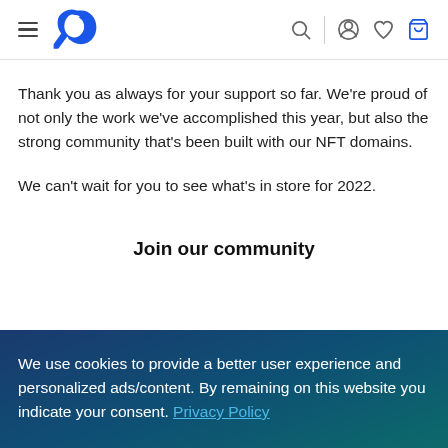Navigation bar with hamburger menu, logo, search, account, wishlist, and cart icons
Thank you as always for your support so far. We're proud of not only the work we've accomplished this year, but also the strong community that's been built with our NFT domains.
We can't wait for you to see what's in store for 2022.
Join our community
We use cookies to provide a better user experience and personalized ads/content. By remaining on this website you indicate your consent. Privacy Policy